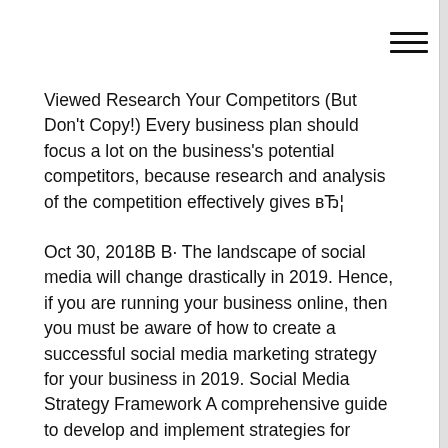Viewed Research Your Competitors (But Don't Copy!) Every business plan should focus a lot on the business's potential competitors, because research and analysis of the competition effectively gives вЂ¦
Oct 30, 2018В В· The landscape of social media will change drastically in 2019. Hence, if you are running your business online, then you must be aware of how to create a successful social media marketing strategy for your business in 2019. Social Media Strategy Framework A comprehensive guide to develop and implement strategies for communicating on the social web. Version 1.1. March 2013. of strategy